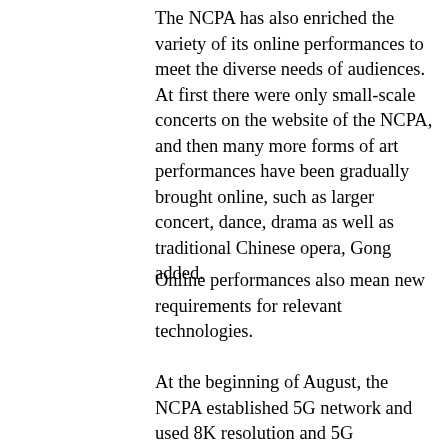The NCPA has also enriched the variety of its online performances to meet the diverse needs of audiences. At first there were only small-scale concerts on the website of the NCPA, and then many more forms of art performances have been gradually brought online, such as larger concert, dance, drama as well as traditional Chinese opera, Gong added.
Online performances also mean new requirements for relevant technologies.
At the beginning of August, the NCPA established 5G network and used 8K resolution and 5G technologies to